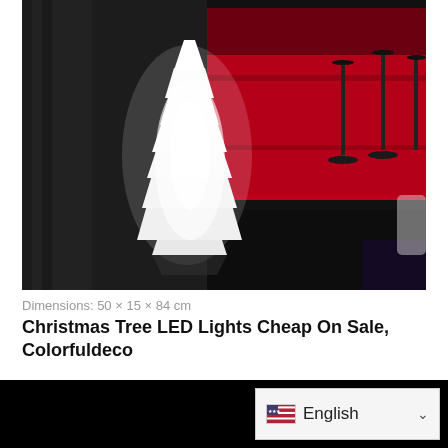[Figure (photo): A glowing white geometric Christmas tree sculpture in the shape of a stylized tree with angular facets, placed in a dark bar or lounge setting with red-lit background shelving and bar stools visible on the right side.]
Dimensions: 50 × 15 × 84 cm
Christmas Tree LED Lights Cheap On Sale, Colorfuldeco
[Figure (photo): Bottom strip showing a dark/black background with a language selector showing English with a US flag icon and dropdown arrow.]